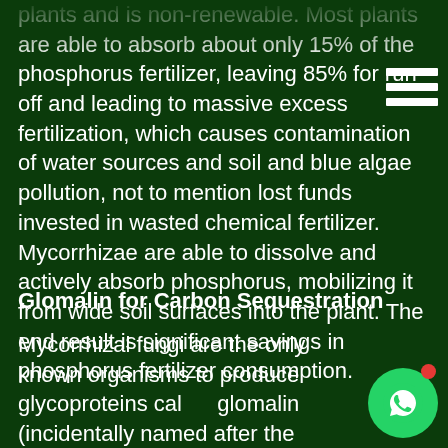plants and is non-renewable. Most plants are able to absorb about only 15% of the phosphorus fertilizer, leaving 85% for run-off and leading to massive excess fertilization, which causes contamination of water sources and soil and blue algae pollution, not to mention lost funds invested in wasted chemical fertilizer. Mycorrhizae are able to dissolve and actively absorb phosphorus, mobilizing it from wide soil surfaces into the plant. The end result is significant savings in phosphorus fertilizer consumption.
Glomalin for Carbon Sequestration
Mycorrhizal fungi are the only known organisms to produce glycoproteins called glomalin (incidentally named after the Glomus genus). Glomalin is a sticky
[Figure (other): WhatsApp floating action button with green circle icon and red notification dot]